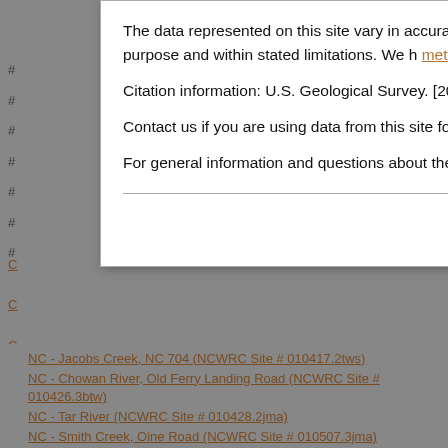The data represented on this site vary in accuracy, s coverage and origin. It is the user's responsibility to intended purpose and within stated limitations. We h metadata files prior to interpreting these data.
Citation information: U.S. Geological Survey. [2022]. Database. Gainesville, Florida. Accessed [9/5/2022].
Contact us if you are using data from this site for a p being used appropriately and for potential co-author:
For general information and questions about the dat: problems and technical issues, contact Matthew Nei
NC - Jacobs Creek, NC 704 (NCWRC Site # 010417.2tws)
NC - Chowan River, Old Ferry Landing Road (NCWRC Site # 010426.3btw)
NC - Tar River (NCWRC Site # 010428.2jma)
NC - Smith Creek, Oine Road (NCWRC Site # 010507.3jma)